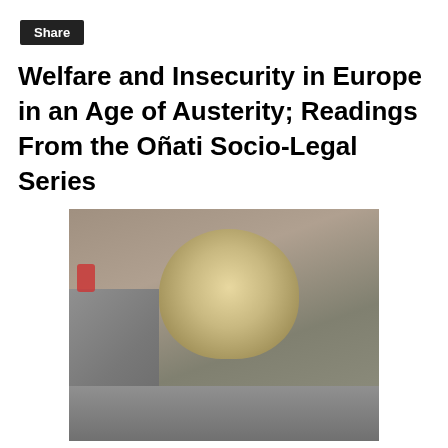Share
Welfare and Insecurity in Europe in an Age of Austerity; Readings From the Oñati Socio-Legal Series
[Figure (photo): A fluffy, shaggy dog sitting on stone steps, photographed from above. The dog has long, disheveled beige/cream fur and is surrounded by gray stone steps.]
(Pix © Larry Catá Backer 2015)